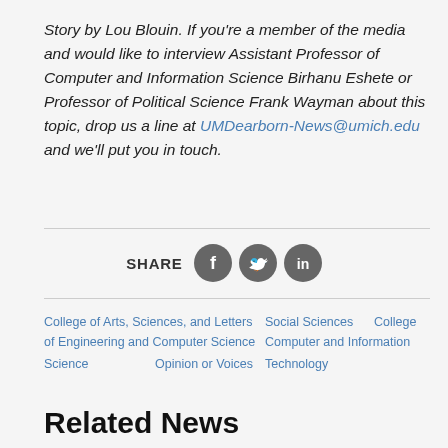Story by Lou Blouin. If you're a member of the media and would like to interview Assistant Professor of Computer and Information Science Birhanu Eshete or Professor of Political Science Frank Wayman about this topic, drop us a line at UMDearborn-News@umich.edu and we'll put you in touch.
[Figure (infographic): Share bar with Facebook, Twitter, and LinkedIn circular icon buttons]
College of Arts, Sciences, and Letters
Social Sciences
College of Engineering and Computer Science
Computer and Information Technology
Science
Opinion or Voices
Related News